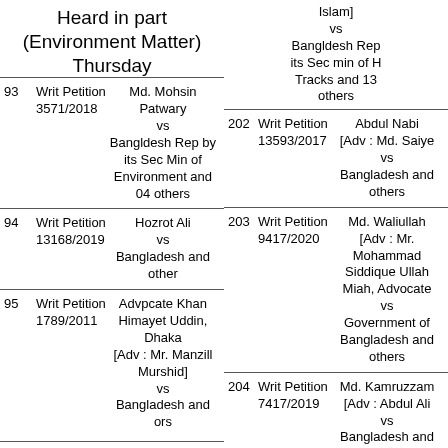Heard in part (Environment Matter) Thursday
93 Writ Petition 3571/2018 Md. Mohsin Patwary vs Bangldesh Rep by its Sec Min of Environment and 04 others
94 Writ Petition 13168/2019 Hozrot Ali vs Bangladesh and other
95 Writ Petition 1789/2011 Advpcate Khan Himayet Uddin, Dhaka [Adv : Mr. Manzill Murshid] vs Bangladesh and ors
For Hearing Heard in Part (Land
Islam] vs Bangldesh Rep its Sec min of H Tracks and 13 others
202 Writ Petition 13593/2017 Abdul Nabi [Adv : Md. Saiye vs Bangladesh and others
203 Writ Petition 9417/2020 Md. Waliullah [Adv : Mr. Mohammad Siddique Ullah Miah, Advocate vs Government of Bangladesh and others
204 Writ Petition 7417/2019 Md. Kamruzzam [Adv : Abdul Ali vs Bangladesh and others